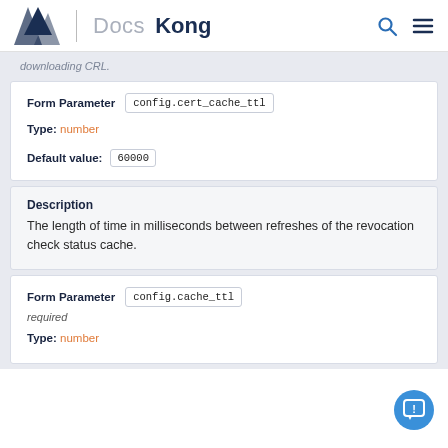Kong | Docs
downloading CRL.
Form Parameter  config.cert_cache_ttl
Type: number
Default value: 60000
Description
The length of time in milliseconds between refreshes of the revocation check status cache.
Form Parameter  config.cache_ttl
required
Type: number